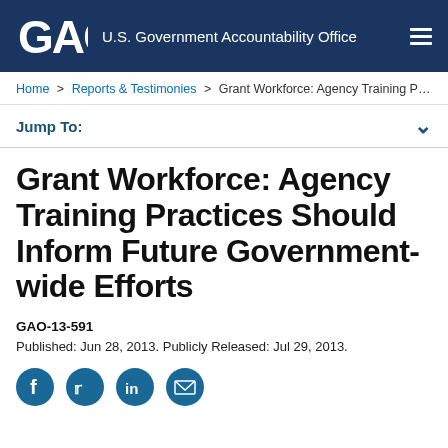GAO U.S. Government Accountability Office
Home > Reports & Testimonies > Grant Workforce: Agency Training Practic...
Jump To:
Grant Workforce: Agency Training Practices Should Inform Future Government-wide Efforts
GAO-13-591
Published: Jun 28, 2013. Publicly Released: Jul 29, 2013.
[Figure (other): Social media sharing icons: Facebook, Twitter, LinkedIn, Email]